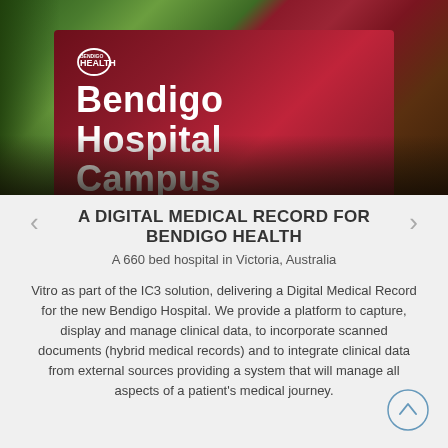[Figure (photo): Photo of Bendigo Hospital Campus sign on a dark red background with Bendigo Health logo, surrounded by trees and iron fencing]
A DIGITAL MEDICAL RECORD FOR BENDIGO HEALTH
A 660 bed hospital in Victoria, Australia
Vitro as part of the IC3 solution, delivering a Digital Medical Record for the new Bendigo Hospital. We provide a platform to capture, display and manage clinical data, to incorporate scanned documents (hybrid medical records) and to integrate clinical data from external sources providing a system that will manage all aspects of a patient's medical journey.